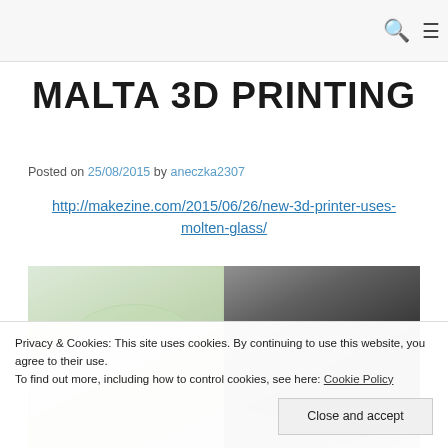[search icon] [menu icon]
MALTA 3D PRINTING
Posted on 25/08/2015 by aneczka2307
http://makezine.com/2015/06/26/new-3d-printer-uses-molten-glass/
[Figure (photo): Two side-by-side photos: left shows a light green/glass object on a surface, right shows a dark angled surface with objects]
Privacy & Cookies: This site uses cookies. By continuing to use this website, you agree to their use.
To find out more, including how to control cookies, see here: Cookie Policy
Close and accept